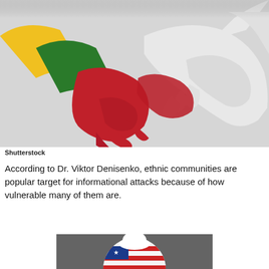[Figure (photo): Two hands shaking — one arm painted with the Lithuanian flag (yellow, green, red), the other a grayscale/white arm. Grey background.]
Shutterstock
According to Dr. Viktor Denisenko, ethnic communities are popular target for informational attacks because of how vulnerable many of them are.
[Figure (photo): Partial view of a circular logo or badge with American flag motif on a dark/concrete background, partially cropped at bottom of page.]